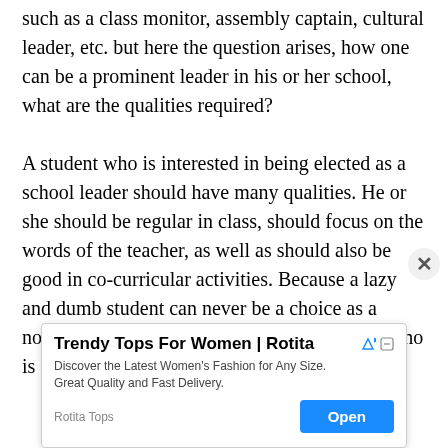such as a class monitor, assembly captain, cultural leader, etc. but here the question arises, how one can be a prominent leader in his or her school, what are the qualities required?
A student who is interested in being elected as a school leader should have many qualities. He or she should be regular in class, should focus on the words of the teacher, as well as should also be good in co-curricular activities. Because a lazy and dumb student can never be a choice as a nominee for being a good leader. The student who is
[Figure (screenshot): Advertisement banner: 'Trendy Tops For Women | Rotita' with text 'Discover the Latest Women's Fashion for Any Size. Great Quality and Fast Delivery.' and an Open button. Rotita Tops brand. Has close (X) and AdChoices icons.]